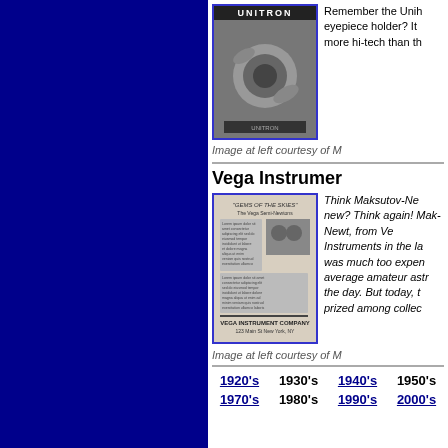[Figure (photo): Unitron telescope advertisement image showing telescope components with 'UNITRON' text at top]
Remember the Unitron eyepiece holder? It more hi-tech than th
Image at left courtesy of M
Vega Instrumer
[Figure (photo): Vega Instrument Company advertisement clipping showing 'GEMS OF THE SKIES' article with photo of people and text. Bottom reads 'VEGA INSTRUMENT COMPANY']
Think Maksutov-Ne new? Think again! Mak-Newt, from Ve Instruments in the la was much too expen average amateur astr the day. But today, t prized among collec
Image at left courtesy of M
1920's   1930's   1940's   1950's
1970's   1980's   1990's   2000's